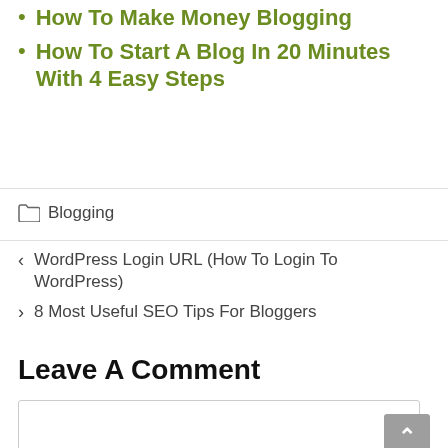How To Make Money Blogging
How To Start A Blog In 20 Minutes With 4 Easy Steps
Blogging
< WordPress Login URL (How To Login To WordPress)
> 8 Most Useful SEO Tips For Bloggers
Leave A Comment